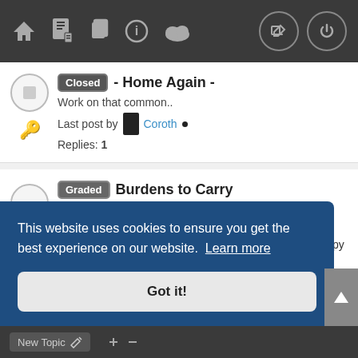[Figure (screenshot): Navigation bar with home, document, copy, info, cloud icons on left and edit/power circle buttons on right, dark background]
Closed - Home Again -
Work on that common..
Last post by Coroth •
Replies: 1
Graded Burdens to Carry
While trying to earn her stay in the human sector, Yeva learns a new craft and prepares for a trek the Temple of Glories to delivery food to trapped residents. OOC: Happy to make this open, but let
This website uses cookies to ensure you get the best experience on our website. Learn more
Got it!